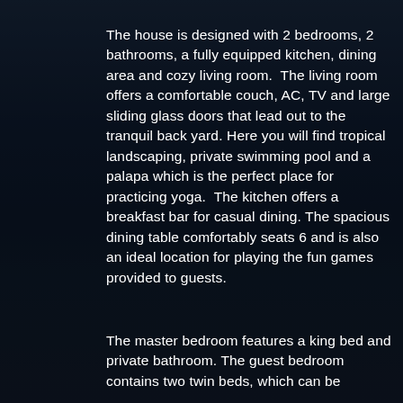The house is designed with 2 bedrooms, 2 bathrooms, a fully equipped kitchen, dining area and cozy living room.  The living room offers a comfortable couch, AC, TV and large sliding glass doors that lead out to the tranquil back yard. Here you will find tropical landscaping, private swimming pool and a palapa which is the perfect place for practicing yoga.  The kitchen offers a breakfast bar for casual dining. The spacious dining table comfortably seats 6 and is also an ideal location for playing the fun games provided to guests.
The master bedroom features a king bed and private bathroom. The guest bedroom contains two twin beds, which can be